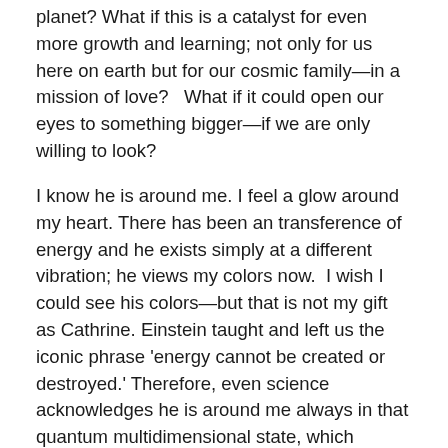planet? What if this is a catalyst for even more growth and learning; not only for us here on earth but for our cosmic family—in a mission of love?   What if it could open our eyes to something bigger—if we are only willing to look?
I know he is around me. I feel a glow around my heart. There has been an transference of energy and he exists simply at a different vibration; he views my colors now.  I wish I could see his colors—but that is not my gift as Cathrine. Einstein taught and left us the iconic phrase 'energy cannot be created or destroyed.' Therefore, even science acknowledges he is around me always in that quantum multidimensional state, which restricts our full understanding of our grandness in our limited human form and perception of our multi-dimensional state.
There is a store in my neighborhood, Jezebels, carries